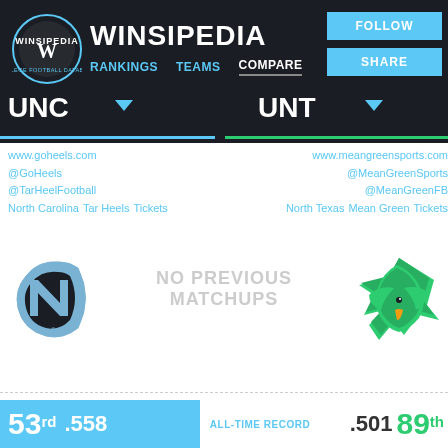[Figure (logo): Winsipedia circular logo with W and text College Football Database]
WINSIPEDIA
RANKINGS   TEAMS   COMPARE
FOLLOW
SHARE
UNC
UNT
www.goheels.com
@GoHeels
@TarHeelFootball
North Carolina  Tar Heels  Tickets
www.meangreensports.com
@MeanGreenSports
@MeanGreenFB
North Texas  Mean Green  Tickets
[Figure (logo): UNC Tar Heels interlocking NC logo in light blue]
NO PREVIOUS MATCHUPS
[Figure (logo): North Texas Mean Green eagle logo in green]
ALL-TIME RECORD
53rd .558
.501  89th